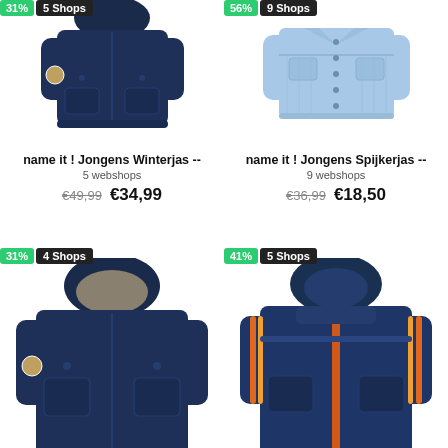[Figure (photo): Navy blue children's winter parka jacket with hood, badge on arm. Green badge showing 31%, dark badge showing 5 Shops.]
name it ! Jongens Winterjas --
5 webshops
€49,99  €34,99
[Figure (photo): Light blue denim children's jacket. Green badge showing 56%, dark badge showing 9 Shops.]
name it ! Jongens Spijkerjas --
9 webshops
€36,99  €18,50
[Figure (photo): Navy blue children's winter parka jacket with hood and fur lining. Green badge showing 31%, dark badge showing 4 Shops.]
[Figure (photo): Dark blue children's winter jacket with orange stripe detail on sleeves and orange zipper. Green badge showing 41%, dark badge showing 5 Shops.]